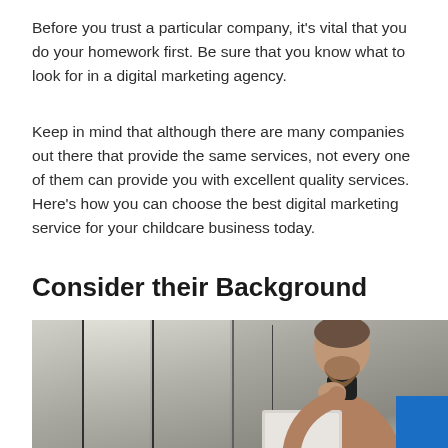Before you trust a particular company, it's vital that you do your homework first. Be sure that you know what to look for in a digital marketing agency.
Keep in mind that although there are many companies out there that provide the same services, not every one of them can provide you with excellent quality services. Here's how you can choose the best digital marketing service for your childcare business today.
Consider their Background
[Figure (photo): A bearded man in a tan jacket sitting thoughtfully by a window with a laptop, chin resting on hand, looking pensive. A blue square decorative element is in the bottom-right corner.]